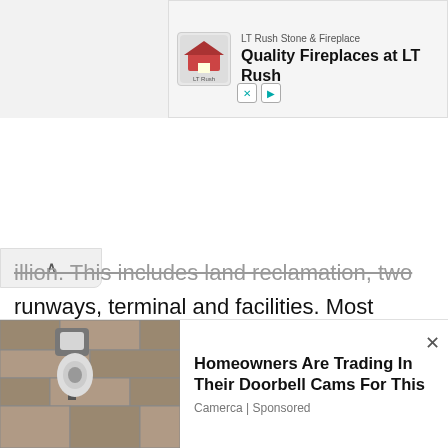[Figure (screenshot): Top advertisement banner for LT Rush Stone & Fireplace showing logo and text 'Quality Fireplaces at LT Rush']
illion. This includes land reclamation, two runways, terminal and facilities. Most additional costs were initially due to the island sinking, expected due to the soft soils of Osaka Bay. After construction the rate of sinking was considered so severe that the airport was widely criticized as a geotechnical engineering disaster. Despite the early misfortunes, the Kansai International Airport is a great engineering achievement. In 2001, the airport
[Figure (screenshot): Bottom advertisement showing security camera on wall with text 'Homeowners Are Trading In Their Doorbell Cams For This' by Camerca | Sponsored]